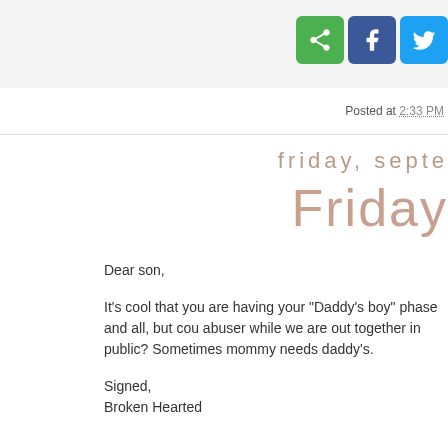[Figure (other): Social share buttons: green share icon, Facebook blue button, Twitter blue bird button]
Posted at 2:33 PM
friday, septe
Friday
Dear son,

It's cool that you are having your "Daddy's boy" phase and all, but cou abuser while we are out together in public? Sometimes mommy needs daddy's.

Signed,
Broken Hearted